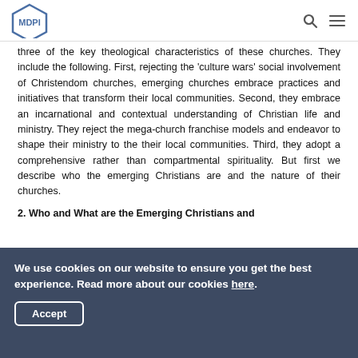MDPI
three of the key theological characteristics of these churches. They include the following. First, rejecting the 'culture wars' social involvement of Christendom churches, emerging churches embrace practices and initiatives that transform their local communities. Second, they embrace an incarnational and contextual understanding of Christian life and ministry. They reject the mega-church franchise models and endeavor to shape their ministry to the their local communities. Third, they adopt a comprehensive rather than compartmental spirituality. But first we describe who the emerging Christians are and the nature of their churches.
2. Who and What are the Emerging Christians and
We use cookies on our website to ensure you get the best experience. Read more about our cookies here.
Accept